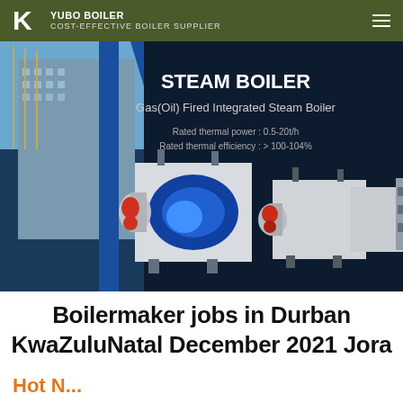COST-EFFECTIVE BOILER SUPPLIER
[Figure (photo): Steam Boiler product banner showing Gas(Oil) Fired Integrated Steam Boiler units against a dark navy background with a building exterior visible on the left. Text overlay reads: STEAM BOILER, Gas(Oil) Fired Integrated Steam Boiler, Rated thermal power: 0.5-20t/h, Rated thermal efficiency: > 100-104%]
Boilermaker jobs in Durban KwaZuluNatal December 2021 Jora
Hot N...